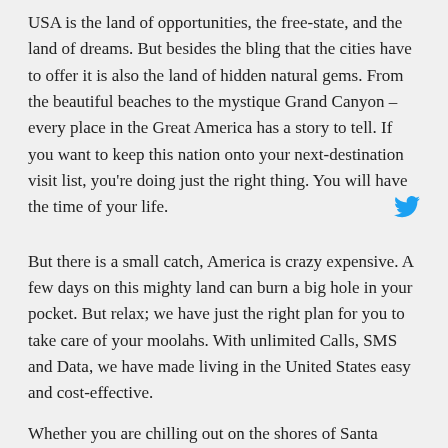USA is the land of opportunities, the free-state, and the land of dreams. But besides the bling that the cities have to offer it is also the land of hidden natural gems. From the beautiful beaches to the mystique Grand Canyon – every place in the Great America has a story to tell. If you want to keep this nation onto your next-destination visit list, you're doing just the right thing. You will have the time of your life.
[Figure (logo): Twitter bird icon in blue]
But there is a small catch, America is crazy expensive. A few days on this mighty land can burn a big hole in your pocket. But relax; we have just the right plan for you to take care of your moolahs. With unlimited Calls, SMS and Data, we have made living in the United States easy and cost-effective.
Whether you are chilling out on the shores of Santa Monica or taking a road trip all the way to Vegas, you can now attend all your work and family calls without a glitch. Our Roaming services for USA lets you stay connected wherever you are, whenever you want; with no roaming charges! Is that too good to be true? There's more!